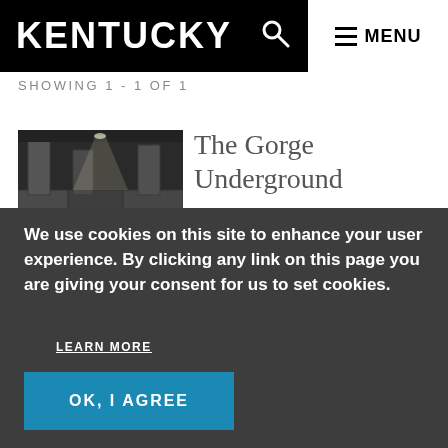KENTUCKY  MENU
SHOWING 1 - 1 OF 1
[Figure (photo): Dark underground tunnel or cave interior with stone/concrete walls and a beam of light from above]
The Gorge Underground
We use cookies on this site to enhance your user experience. By clicking any link on this page you are giving your consent for us to set cookies.
LEARN MORE
OK, I AGREE